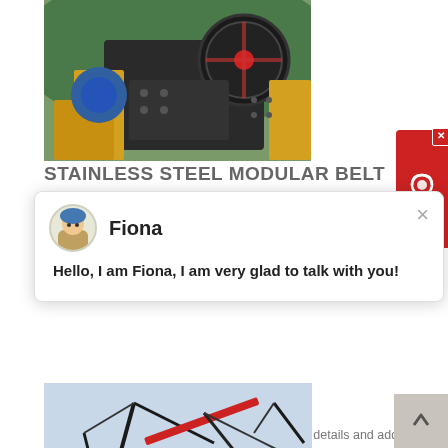[Figure (photo): Industrial jaw crusher / mining machine with yellow frame, blue motor, large flywheel, on rocky terrain with green hills in background]
STAINLESS STEEL MODULAR BELT
[Figure (screenshot): Chat popup with avatar of agent named Fiona, message: Hello, I am Fiona, I am very glad to talk with you!]
Maharashtra. Read about company. Get contact details and address ID: 14763781512
get price
[Figure (photo): Large mobile crushing/screening plant with conveyor belts and cranes on a gravel/rock site]